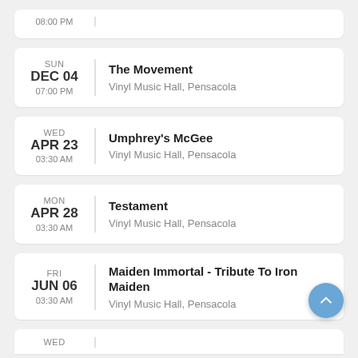08:00 PM | (partial event card, top)
SUN DEC 04 07:00 PM | The Movement | Vinyl Music Hall, Pensacola
WED APR 23 03:30 AM | Umphrey's McGee | Vinyl Music Hall, Pensacola
MON APR 28 03:30 AM | Testament | Vinyl Music Hall, Pensacola
FRI JUN 06 03:30 AM | Maiden Immortal - Tribute To Iron Maiden | Vinyl Music Hall, Pensacola
WED (partial event card, bottom)